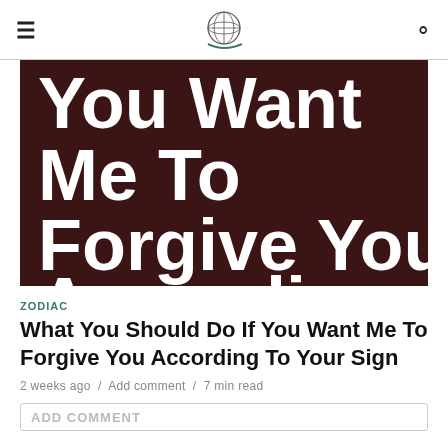[hamburger menu] [logo] [search]
[Figure (photo): Dark brown background with large white bold text reading 'You Want Me To Forgive You According' (cut off at bottom)]
ZODIAC
What You Should Do If You Want Me To Forgive You According To Your Sign
2 weeks ago / Add comment / 7 min read
ADD COMMENT